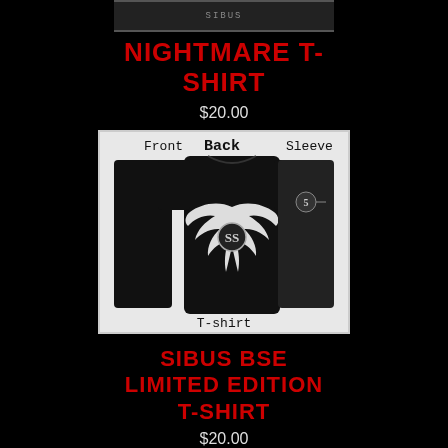[Figure (photo): Small product thumbnail image at the top showing a black t-shirt]
NIGHTMARE T-SHIRT
$20.00
[Figure (photo): Product image showing three views of a black t-shirt: Front (left sleeve with 'SIBUS' text vertically), Back (center showing large white angel wings graphic with 'SS' logo), and Sleeve (right showing small logo). Labels: Front, Back, Sleeve, T-shirt]
SIBUS BSE LIMITED EDITION T-SHIRT
$20.00